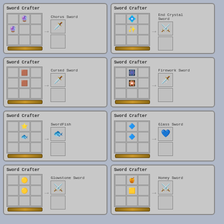[Figure (screenshot): Minecraft-style Sword Crafter recipe card: Chorus Sword crafted from chorus fruit items]
[Figure (screenshot): Minecraft-style Sword Crafter recipe card: End Crystal Sword crafted from end crystal items]
[Figure (screenshot): Minecraft-style Sword Crafter recipe card: Cursed Sword crafted from soul sand items]
[Figure (screenshot): Minecraft-style Sword Crafter recipe card: Firework Sword crafted from firework rocket items]
[Figure (screenshot): Minecraft-style Sword Crafter recipe card: SwordFish crafted from fish and sun items]
[Figure (screenshot): Minecraft-style Sword Crafter recipe card: Glass Sword crafted from glass items]
[Figure (screenshot): Minecraft-style Sword Crafter recipe card: Glowstone Sword crafted from glowstone items]
[Figure (screenshot): Minecraft-style Sword Crafter recipe card: Honey Sword crafted from honey block items]